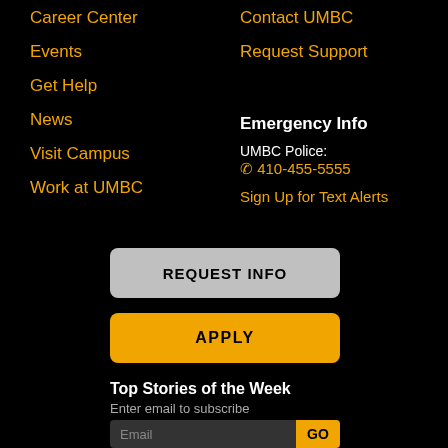Career Center
Events
Get Help
News
Visit Campus
Work at UMBC
Contact UMBC
Request Support
Emergency Info
UMBC Police: ☎ 410-455-5555
Sign Up for Text Alerts
REQUEST INFO
APPLY
Top Stories of the Week
Enter email to subscribe
Email
GO